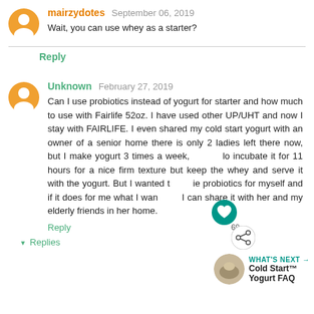mairzydotes  September 06, 2019
Wait, you can use whey as a starter?
Reply
Unknown  February 27, 2019
Can I use probiotics instead of yogurt for starter and how much to use with Fairlife 52oz. I have used other UP/UHT and now I stay with FAIRLIFE. I even shared my cold start yogurt with an owner of a senior home there is only 2 ladies left there now, but I make yogurt 3 times a week, lo incubate it for 11 hours for a nice firm texture but keep the whey and serve it with the yogurt. But I wanted t ie probiotics for myself and if it does for me what I want I can share it with her and my elderly friends in her home.
Reply
▾  Replies
WHAT'S NEXT → Cold Start™ Yogurt FAQ